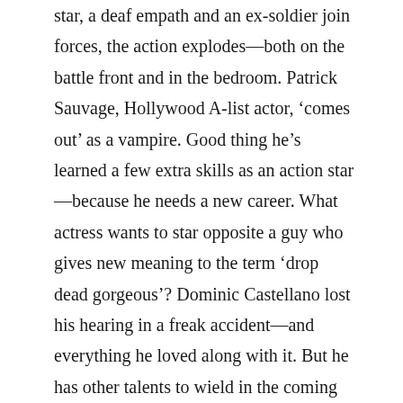star, a deaf empath and an ex-soldier join forces, the action explodes—both on the battle front and in the bedroom. Patrick Sauvage, Hollywood A-list actor, 'comes out' as a vampire. Good thing he's learned a few extra skills as an action star—because he needs a new career. What actress wants to star opposite a guy who gives new meaning to the term 'drop dead gorgeous'? Dominic Castellano lost his hearing in a freak accident—and everything he loved along with it. But he has other talents to wield in the coming war—he